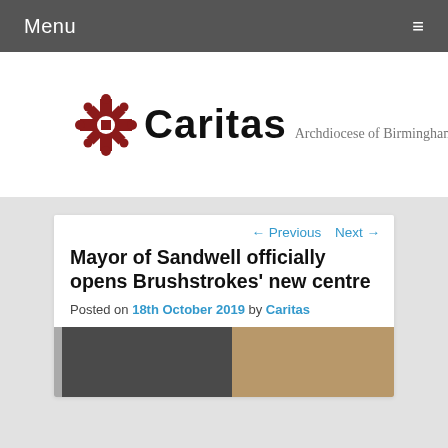Menu
[Figure (logo): Caritas Archdiocese of Birmingham logo with red cross/snowflake symbol]
← Previous   Next →
Mayor of Sandwell officially opens Brushstrokes' new centre
Posted on 18th October 2019 by Caritas
[Figure (photo): Photograph showing people inside a room, partially visible at bottom of page]